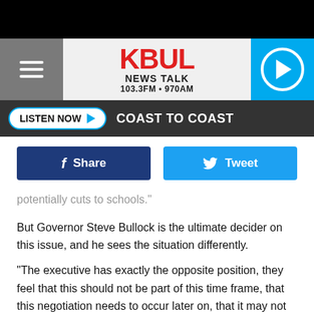[Figure (screenshot): KBUL News Talk 103.3FM 970AM website header with hamburger menu, logo, and play button]
[Figure (screenshot): Listen Now button and Coast to Coast navigation bar]
[Figure (screenshot): Facebook Share and Twitter Tweet buttons]
potentially cuts to schools."
But Governor Steve Bullock is the ultimate decider on this issue, and he sees the situation differently.
"The executive has exactly the opposite position, they feel that this should not be part of this time frame, that this negotiation needs to occur later on, that it may not fit into the overall prison vision, and a number of reasons, but their